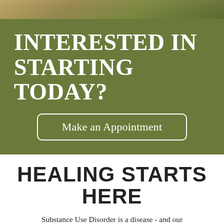[Figure (photo): Partial photo strip at top showing outdoor/nature background in olive and brown tones]
INTERESTED IN STARTING TODAY?
Make an Appointment
HEALING STARTS HERE
Substance Use Disorder is a disease - and our proven and compassionate programs offer many pathways to recovery. If you or a loved one struggles with drug and alcohol addiction, hope starts HERE.